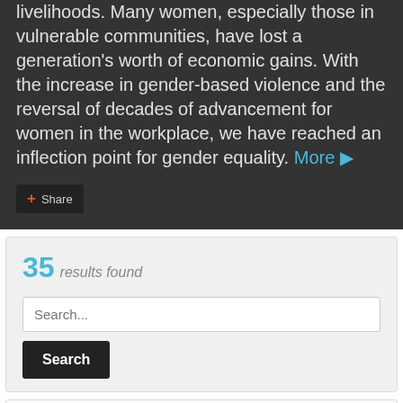livelihoods. Many women, especially those in vulnerable communities, have lost a generation's worth of economic gains. With the increase in gender-based violence and the reversal of decades of advancement for women in the workplace, we have reached an inflection point for gender equality. More ▶
+ Share
35 results found
Search...
Search
Resource type